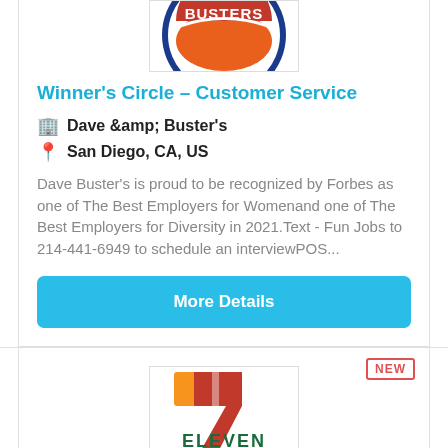[Figure (logo): Dave & Buster's logo — partial, cropped at top]
Winner's Circle – Customer Service
Dave &amp; Buster's
San Diego, CA, US
Dave Buster's is proud to be recognized by Forbes as one of The Best Employers for Womenand one of The Best Employers for Diversity in 2021.Text - Fun Jobs to 214-441-6949 to schedule an interviewPOS...
More Details
[Figure (logo): 7-Eleven logo — orange and red seven with green ELEVEN text]